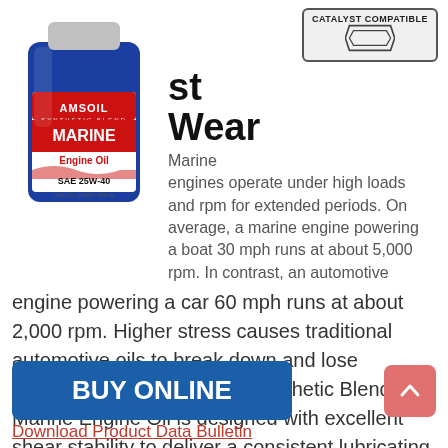[Figure (photo): AMSOIL Synthetic Blend Marine Engine Oil SAE 25W-40 product bottle (blue container with red label)]
[Figure (logo): Catalyst Compatible badge — octagonal/chevron shape with text CATALYST COMPATIBLE]
st Wear
Marine engines operate under high loads and rpm for extended periods. On average, a marine engine powering a boat 30 mph runs at about 5,000 rpm. In contrast, an automotive engine powering a car 60 mph runs at about 2,000 rpm. Higher stress causes traditional automotive oils to break down and lose viscosity. AMSOIL 25W-40 Synthetic Blend Marine Engine Oil is designed with excellent shear stability to deliver a consistent lubricating film. It helps guard engine components from wear for maximum life.
BUY ONLINE
Download Product Data Bulletin